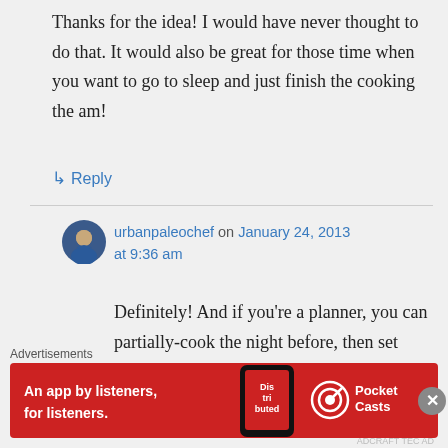Thanks for the idea! I would have never thought to do that. It would also be great for those time when you want to go to sleep and just finish the cooking the am!
↳ Reply
urbanpaleochef on January 24, 2013 at 9:36 am
Definitely! And if you're a planner, you can partially-cook the night before, then set your crock (if you have one of those) to start cooking
Advertisements
[Figure (other): Pocket Casts advertisement banner with red background showing 'An app by listeners, for listeners.' text and app icon]